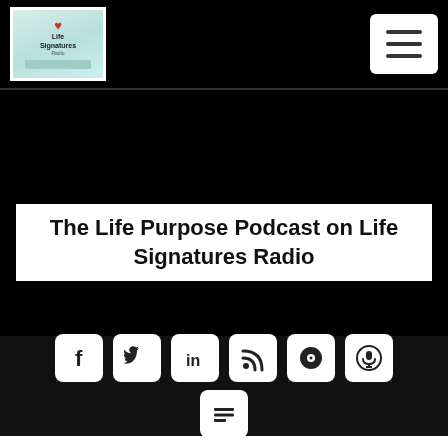[Figure (logo): Life Signatures Radio logo in top left navbar on black background]
[Figure (illustration): Hamburger menu button (three horizontal lines) on white rounded rectangle in top right of navbar]
The Life Purpose Podcast on Life Signatures Radio
[Figure (infographic): Social media icon buttons row: Facebook (f), Twitter (bird/y), LinkedIn (in), RSS feed, Spotify-like (dot-circle), Podcast (microphone circle). Second row: one additional icon (grid/menu symbol). All white rounded rectangles on black background.]